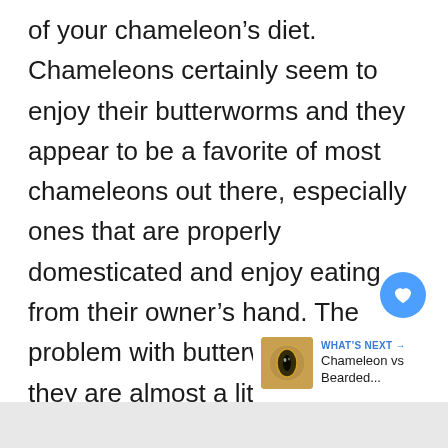of your chameleon's diet. Chameleons certainly seem to enjoy their butterworms and they appear to be a favorite of most chameleons out there, especially ones that are properly domesticated and enjoy eating from their owner's hand. The problem with butterworms is that they are almost a little bit too much for your chameleon.
[Figure (other): Blue circular heart/like button icon]
[Figure (other): Gray circular share button icon with share symbol]
[Figure (other): What's Next card showing a chameleon eye image with text 'Chameleon vs Bearded...']